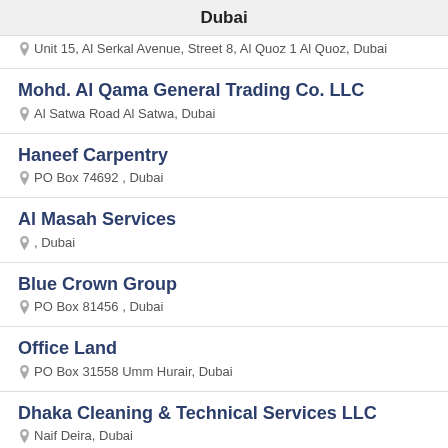Dubai
Unit 15, Al Serkal Avenue, Street 8, Al Quoz 1 Al Quoz, Dubai
Mohd. Al Qama General Trading Co. LLC
Al Satwa Road Al Satwa, Dubai
Haneef Carpentry
PO Box 74692 , Dubai
Al Masah Services
, Dubai
Blue Crown Group
PO Box 81456 , Dubai
Office Land
PO Box 31558 Umm Hurair, Dubai
Dhaka Cleaning & Technical Services LLC
Naif Deira, Dubai